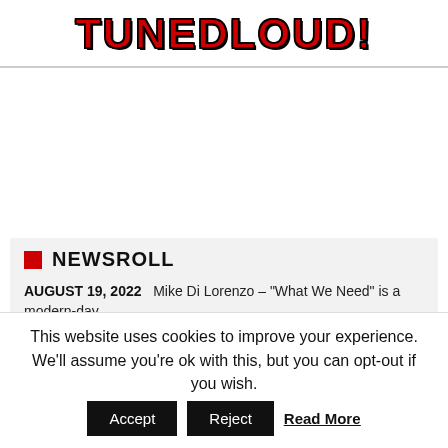TUNEDLOUD!
NEWSROLL
AUGUST 19, 2022  Mike Di Lorenzo – "What We Need" is a modern-day...
This website uses cookies to improve your experience. We'll assume you're ok with this, but you can opt-out if you wish. Accept  Reject  Read More